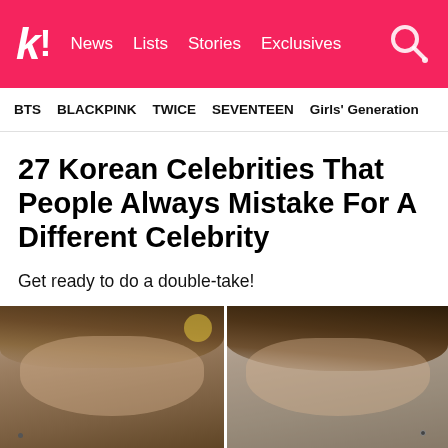k! News Lists Stories Exclusives
BTS BLACKPINK TWICE SEVENTEEN Girls' Generation
27 Korean Celebrities That People Always Mistake For A Different Celebrity
Get ready to do a double-take!
[Figure (photo): Two side-by-side photos of Korean male celebrities with similar brown hair]